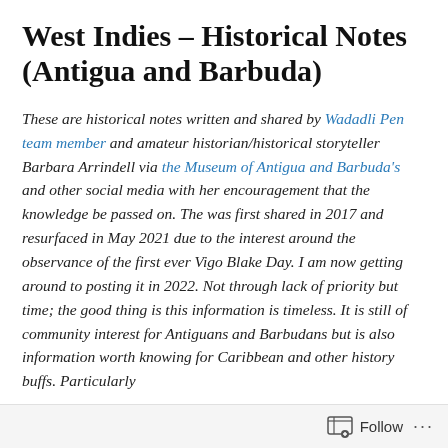West Indies – Historical Notes (Antigua and Barbuda)
These are historical notes written and shared by Wadadli Pen team member and amateur historian/historical storyteller Barbara Arrindell via the Museum of Antigua and Barbuda's and other social media with her encouragement that the knowledge be passed on. The was first shared in 2017 and resurfaced in May 2021 due to the interest around the observance of the first ever Vigo Blake Day. I am now getting around to posting it in 2022. Not through lack of priority but time; the good thing is this information is timeless. It is still of community interest for Antiguans and Barbudans but is also information worth knowing for Caribbean and other history buffs. Particularly
Follow